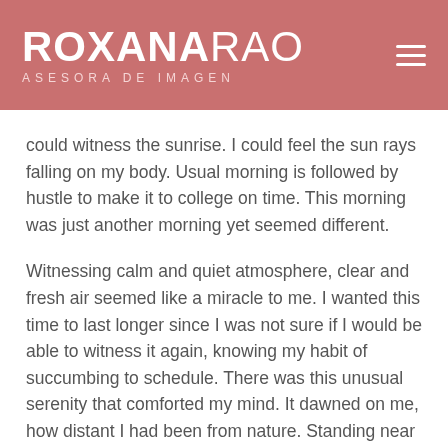ROXANARAO ASESORA DE IMAGEN
could witness the sunrise. I could feel the sun rays falling on my body. Usual morning is followed by hustle to make it to college on time. This morning was just another morning yet seemed different.
Witnessing calm and quiet atmosphere, clear and fresh air seemed like a miracle to me. I wanted this time to last longer since I was not sure if I would be able to witness it again, knowing my habit of succumbing to schedule. There was this unusual serenity that comforted my mind. It dawned on me, how distant I had been from nature. Standing near the compound's gate, feeling the moistness that the air carried, I thought about my life so far.